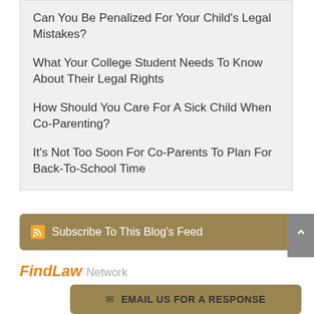Can You Be Penalized For Your Child's Legal Mistakes?
What Your College Student Needs To Know About Their Legal Rights
How Should You Care For A Sick Child When Co-Parenting?
It's Not Too Soon For Co-Parents To Plan For Back-To-School Time
Subscribe To This Blog's Feed
FindLaw Network
EMAIL US FOR A RESPONSE